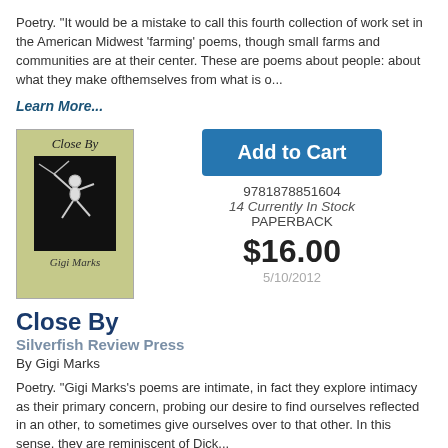Poetry. "It would be a mistake to call this fourth collection of work set in the American Midwest 'farming' poems, though small farms and communities are at their center. These are poems about people: about what they make ofthemselves from what is o...
Learn More...
[Figure (illustration): Book cover for 'Close By' by Gigi Marks, showing a gymnast or acrobat in mid-air on a dark background, with an olive/green cover color.]
Add to Cart
9781878851604
14 Currently In Stock
PAPERBACK
$16.00
5/10/2012
Close By
Silverfish Review Press
By Gigi Marks
Poetry. "Gigi Marks's poems are intimate, in fact they explore intimacy as their primary concern, probing our desire to find ourselves reflected in an other, to sometimes give ourselves over to that other. In this sense, they are reminiscent of Dick...